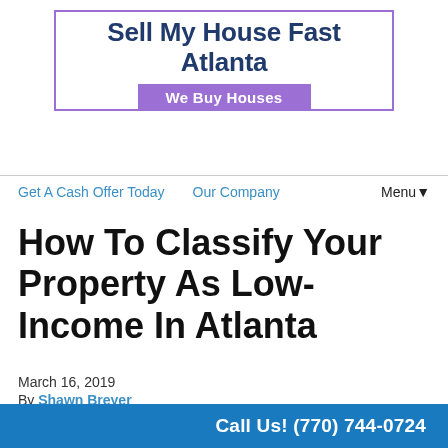Sell My House Fast Atlanta
We Buy Houses
Get A Cash Offer Today   Our Company   Menu▼
How To Classify Your Property As Low-Income In Atlanta
March 16, 2019
By Shawn Breyer
[Figure (photo): Exterior photo of a residential house with siding and windows]
Call Us! (770) 744-0724